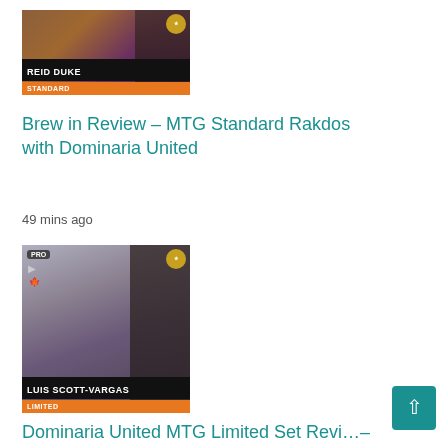[Figure (photo): Thumbnail image for Reid Duke article showing fantasy art and a person, with 'REID DUKE' label bar, 'STANDARD' category in orange, and a gold badge top right. PRO and video icons top left.]
Brew in Review – MTG Standard Rakdos with Dominaria United
49 mins ago
[Figure (photo): Thumbnail image for Luis Scott-Vargas article showing fantasy art of a white-clad figure and a person with beard, with 'LUIS SCOTT-VARGAS' label bar, 'LIMITED' category in orange, and a gold badge top right. PRO and video icons top left.]
Dominaria United MTG Limited Set Revi…–